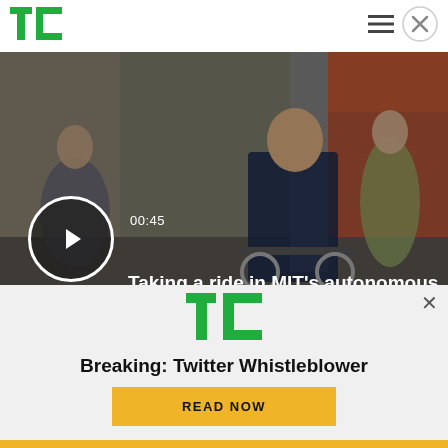TechCrunch header with logo, hamburger menu, and close button
[Figure (screenshot): Video thumbnail showing a person sitting in an autonomous wheelchair in a museum/lobby setting. Play button overlay in lower-left, timestamp 00:45 shown above title text.]
Taking a ride in MIT's autonomous wheelchair
[Figure (logo): TechCrunch TC logo in green, shown in the banner ad overlay]
Breaking: Twitter Whistleblower
READ NOW